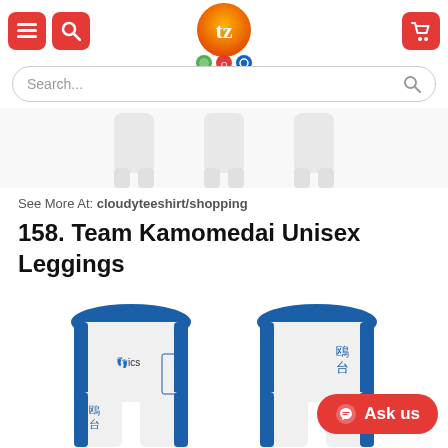[Figure (screenshot): E-commerce website header with hamburger menu icon, search icon (both red rounded squares), centered orange circular logo with 'tz' letter and badges below, and red cart icon on right]
[Figure (screenshot): Search bar with 'Search...' placeholder text and search icon on right, rounded pill shape]
[Figure (photo): Partial view of leggings products shown from waist-down in white, three pairs visible at top of page]
See More At: cloudyteeshirt/shopping
158. Team Kamomedai Unisex Leggings
[Figure (photo): Two views of Team Kamomedai Unisex Leggings - front and back views showing white leggings with blue waistband and blue side stripes, Japanese kanji characters on side, small footprint logo and 'ics' text]
[Figure (screenshot): Red pill-shaped 'Ask us' button with Messenger icon on bottom right]